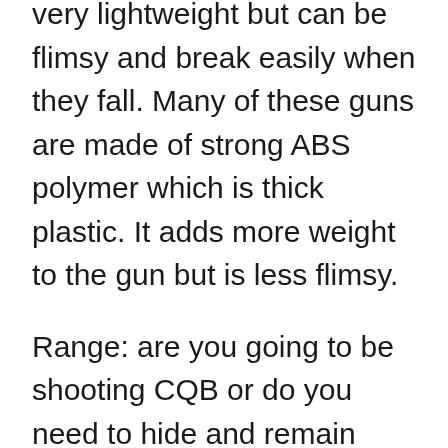very lightweight but can be flimsy and break easily when they fall. Many of these guns are made of strong ABS polymer which is thick plastic. It adds more weight to the gun but is less flimsy.
Range: are you going to be shooting CQB or do you need to hide and remain stealthy at long range? Go for a sniper rifle that fits your budget but is also within a good range.
Power: as a beginner, you don't need more than 400 FPS to deliver accurate